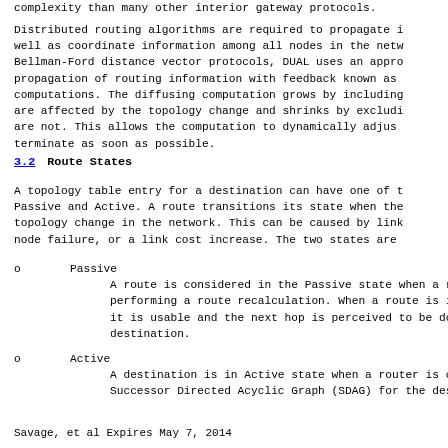complexity than many other interior gateway protocols.
Distributed routing algorithms are required to propagate information as well as coordinate information among all nodes in the network. Unlike Bellman-Ford distance vector protocols, DUAL uses an approach to propagation of routing information with feedback known as diffusing computations. The diffusing computation grows by including nodes that are affected by the topology change and shrinks by excluding nodes that are not. This allows the computation to dynamically adjust and terminate as soon as possible.
3.2   Route States
A topology table entry for a destination can have one of two states: Passive and Active. A route transitions its state when there is a topology change in the network. This can be caused by link failure, node failure, or a link cost increase. The two states are
o   Passive
        A route is considered in the Passive state when a router is not performing a route recalculation. When a route is in the Passive state it is usable and the next hop is perceived to be down stream towards the destination.
o   Active
        A destination is in Active state when a router is computing a new Successor Directed Acyclic Graph (SDAG) for the destination.
Savage, et al                    Expires May 7, 2014